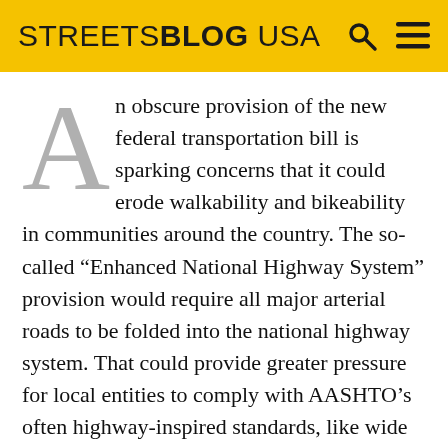STREETSBLOG USA
An obscure provision of the new federal transportation bill is sparking concerns that it could erode walkability and bikeability in communities around the country. The so-called “Enhanced National Highway System” provision would require all major arterial roads to be folded into the national highway system. That could provide greater pressure for local entities to comply with AASHTO’s often highway-inspired standards, like wide lanes and shoulders that encourage car capacity at the expense of pedestrian safety.
The provision will result in a near doubling of the number of roads that will be part of the national